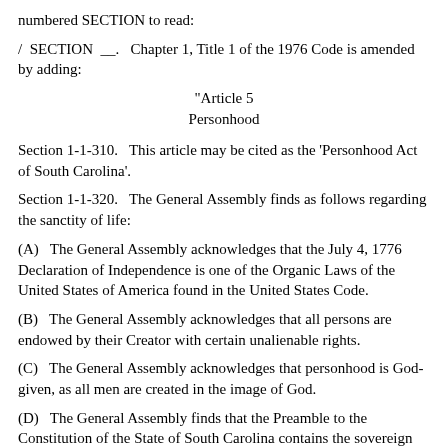numbered SECTION to read:
/  SECTION  __.  Chapter 1, Title 1 of the 1976 Code is amended by adding:
"Article 5
Personhood
Section 1-1-310.  This article may be cited as the 'Personhood Act of South Carolina'.
Section 1-1-320.  The General Assembly finds as follows regarding the sanctity of life:
(A)   The General Assembly acknowledges that the July 4, 1776 Declaration of Independence is one of the Organic Laws of the United States of America found in the United States Code.
(B)   The General Assembly acknowledges that all persons are endowed by their Creator with certain unalienable rights.
(C)   The General Assembly acknowledges that personhood is God-given, as all men are created in the image of God.
(D)   The General Assembly finds that the Preamble to the Constitution of the State of South Carolina contains the sovereign peoples' acknowledgment of God as the source of constitutional